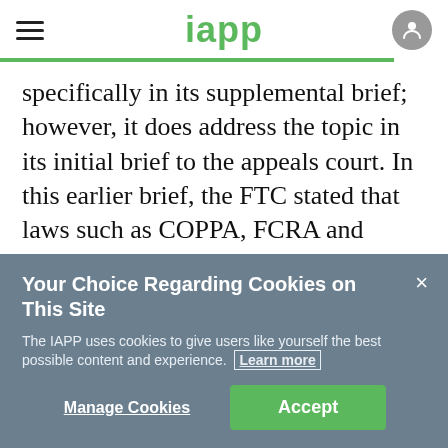iapp
specifically in its supplemental brief; however, it does address the topic in its initial brief to the appeals court. In this earlier brief, the FTC stated that laws such as COPPA, FCRA and GLBA “all enable the Commission to adopt data-protection rules
Your Choice Regarding Cookies on This Site
The IAPP uses cookies to give users like yourself the best possible content and experience. Learn more
Manage Cookies   Accept